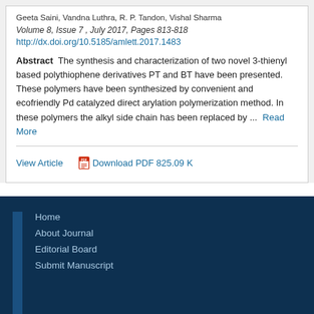Geeta Saini, Vandna Luthra, R. P. Tandon, Vishal Sharma
Volume 8, Issue 7, July 2017, Pages 813-818
http://dx.doi.org/10.5185/amlett.2017.1483
Abstract   The synthesis and characterization of two novel 3-thienyl based polythiophene derivatives PT and BT have been presented. These polymers have been synthesized by convenient and ecofriendly Pd catalyzed direct arylation polymerization method. In these polymers the alkyl side chain has been replaced by ...  Read More
View Article
Download PDF 825.09 K
Home
About Journal
Editorial Board
Submit Manuscript